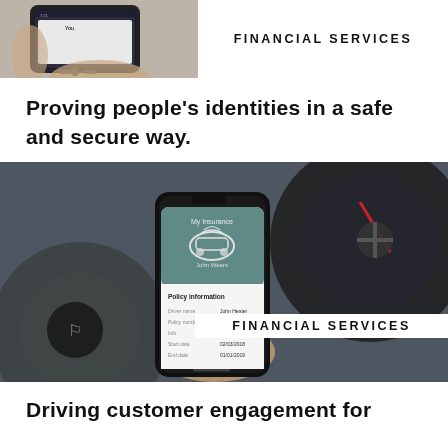[Figure (photo): A hand holding a smartphone, partial view from above]
FINANCIAL SERVICES
Proving people's identities in a safe and secure way.
[Figure (photo): A person holding a smartphone showing a 'My Insurance' app with policy information, in front of a car steering wheel. The phone displays: Driver name: John Heater, Policy number: P809e0756GT, Info: 10/SL4076, Start date: 02/03/2018, End date: 01/01/2019]
FINANCIAL SERVICES
Driving customer engagement for